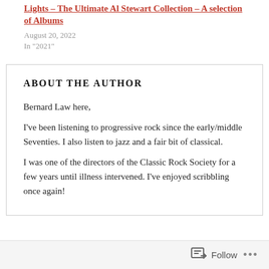Lights – The Ultimate Al Stewart Collection – A selection of Albums
August 20, 2022
In "2021"
ABOUT THE AUTHOR
Bernard Law here,
I've been listening to progressive rock since the early/middle Seventies. I also listen to jazz and a fair bit of classical.
I was one of the directors of the Classic Rock Society for a few years until illness intervened. I've enjoyed scribbling once again!
Follow ...